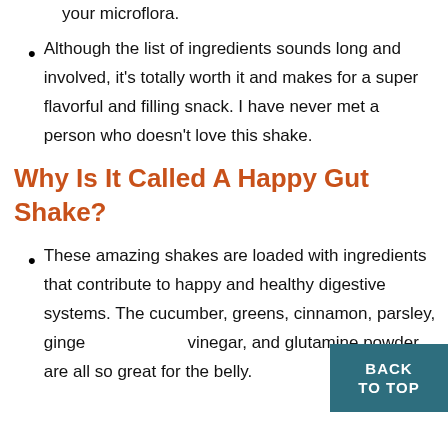your microflora.
Although the list of ingredients sounds long and involved, it's totally worth it and makes for a super flavorful and filling snack. I have never met a person who doesn't love this shake.
Why Is It Called A Happy Gut Shake?
These amazing shakes are loaded with ingredients that contribute to happy and healthy digestive systems. The cucumber, greens, cinnamon, parsley, ginge vinegar, and glutamine powder are all so great for the belly.